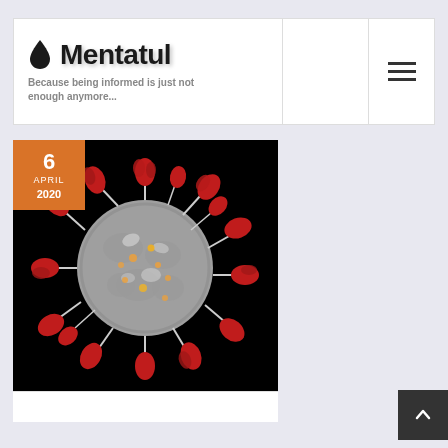Mentatul — Because being informed is just not enough anymore...
[Figure (photo): Coronavirus particle microscopy image with red spike proteins on grey body against black background, with an orange date badge showing 6 APRIL 2020 in the top-left corner]